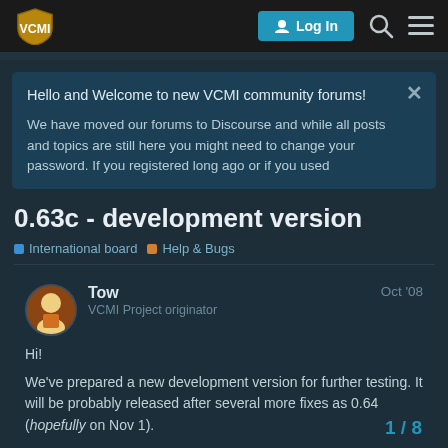VCMI — Log In
Hello and Welcome to new VCMI community forums!

We have moved our forums to Discourse and while all posts and topics are still here you might need to change your password. If you registered long ago or if you used
0.63c - development version
International board › Help & Bugs
Tow
VCMI Project originator
Oct '08
Hi!
We've prepared a new development version for further testing. It will be probably released after several more fixes as 0.64 (hopefully on Nov 1).
1 / 8